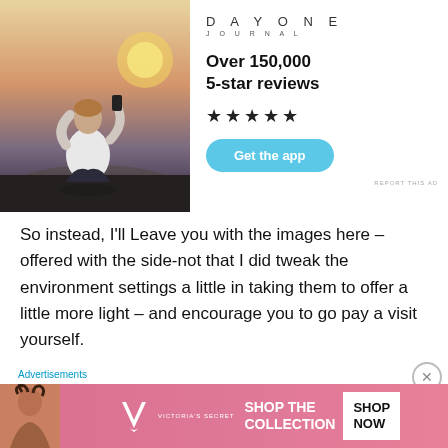[Figure (photo): Advertisement for Day One Journal app. Left side shows a person sitting on rocks photographing a sunset. Right side shows the Day One Journal logo, text 'Over 150,000 5-star reviews', five black stars, and a blue 'Get the app' button. Small 'REPORT THIS AD' text at bottom right.]
So instead, I'll Leave you with the images here – offered with the side-not that I did tweak the environment settings a little in taking them to offer a little more light – and encourage you to go pay a visit yourself.
SHURL DETAILS
Advertisements
[Figure (photo): Victoria's Secret advertisement banner with pink background. Features Victoria's Secret logo (VS), text 'VICTORIAS SECRET', 'SHOP THE COLLECTION' in white bold letters, and a white 'SHOP NOW' button on the right.]